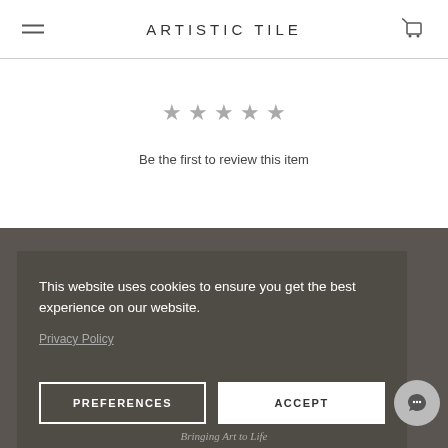ARTISTIC TILE
[Figure (other): Five empty star icons (gray) indicating a rating widget]
Be the first to review this item
This website uses cookies to ensure you get the best experience on our website.
Privacy Policy
PREFERENCES
ACCEPT
Bringing Art to Life